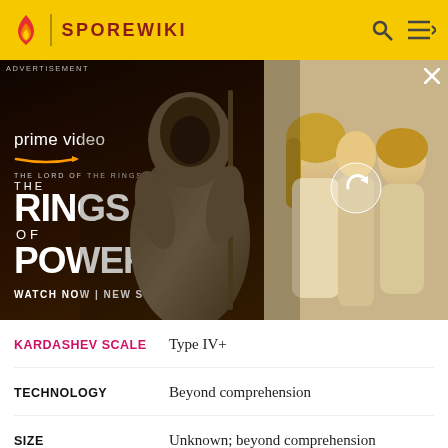SPOREWIKI
[Figure (photo): Advertisement for Amazon Prime Video 'The Lord of the Rings: The Rings of Power' new series, showing a hooded figure and characters]
| Field | Value |
| --- | --- |
| KARDASHEV SCALE | Type IV+ |
| TECHNOLOGY | Beyond comprehension |
| SIZE | Unknown; beyond comprehension |
GOVERNMENTAL INFORMATION
| Field | Value |
| --- | --- |
| TYPE | Beyond the need |